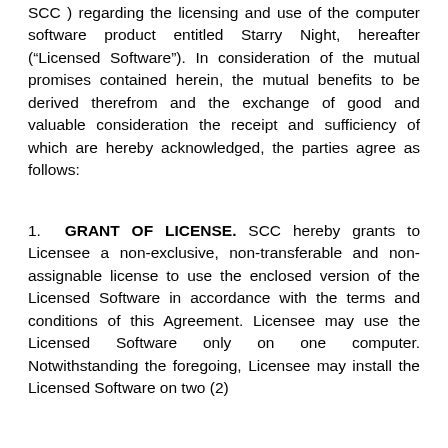SCC ) regarding the licensing and use of the computer software product entitled Starry Night, hereafter (“Licensed Software”). In consideration of the mutual promises contained herein, the mutual benefits to be derived therefrom and the exchange of good and valuable consideration the receipt and sufficiency of which are hereby acknowledged, the parties agree as follows:
1. GRANT OF LICENSE. SCC hereby grants to Licensee a non-exclusive, non-transferable and non-assignable license to use the enclosed version of the Licensed Software in accordance with the terms and conditions of this Agreement. Licensee may use the Licensed Software only on one computer. Notwithstanding the foregoing, Licensee may install the Licensed Software on two (2)